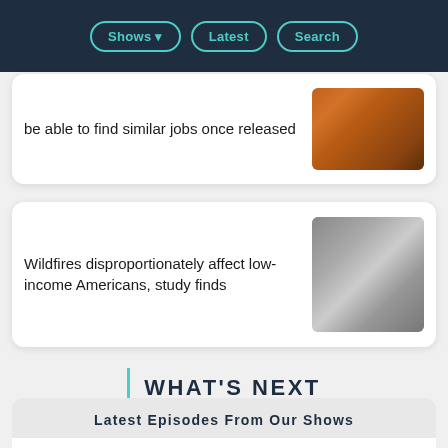Shows | Latest | Search
be able to find similar jobs once released
[Figure (photo): Firefighters in orange gear working outdoors]
Wildfires disproportionately affect low-income Americans, study finds
[Figure (photo): Dense wildfire smoke with flames visible through the haze]
WHAT'S NEXT
Latest Episodes From Our Shows
[Figure (logo): Marketplace Morning Report logo in orange]
LISTEN